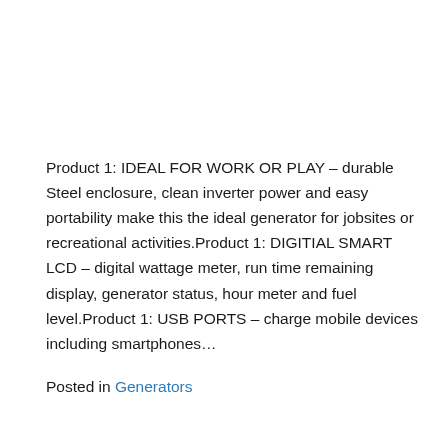Product 1: IDEAL FOR WORK OR PLAY – durable Steel enclosure, clean inverter power and easy portability make this the ideal generator for jobsites or recreational activities.Product 1: DIGITIAL SMART LCD – digital wattage meter, run time remaining display, generator status, hour meter and fuel level.Product 1: USB PORTS – charge mobile devices including smartphones…
Posted in Generators